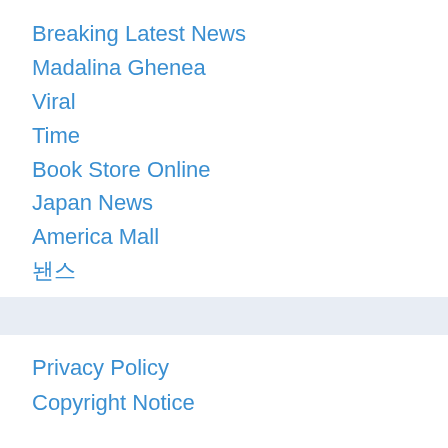Breaking Latest News
Madalina Ghenea
Viral
Time
Book Store Online
Japan News
America Mall
뉴스
Privacy Policy
Copyright Notice